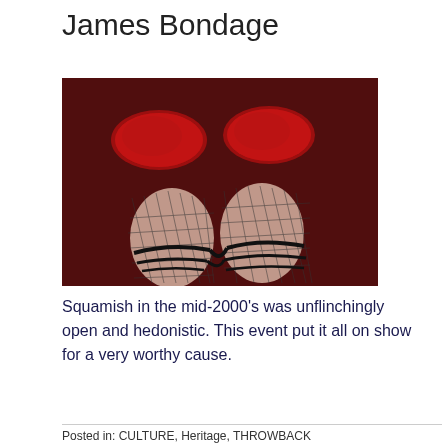James Bondage
[Figure (photo): Close-up photo of two feet wearing red high-heeled shoes with fishnet stockings and black rope or strap bindings wrapped around the ankles, against a dark red/maroon background.]
Squamish in the mid-2000's was unflinchingly open and hedonistic. This event put it all on show for a very worthy cause.
Posted in: CULTURE, Heritage, THROWBACK